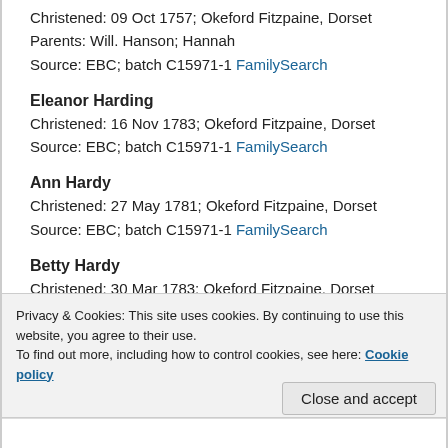Christened: 09 Oct 1757; Okeford Fitzpaine, Dorset
Parents: Will. Hanson; Hannah
Source: EBC; batch C15971-1 FamilySearch
Eleanor Harding
Christened: 16 Nov 1783; Okeford Fitzpaine, Dorset
Source: EBC; batch C15971-1 FamilySearch
Ann Hardy
Christened: 27 May 1781; Okeford Fitzpaine, Dorset
Source: EBC; batch C15971-1 FamilySearch
Betty Hardy
Christened: 30 Mar 1783; Okeford Fitzpaine, Dorset
Parents: James Hardy; Jane
Privacy & Cookies: This site uses cookies. By continuing to use this website, you agree to their use.
To find out more, including how to control cookies, see here: Cookie policy
Close and accept